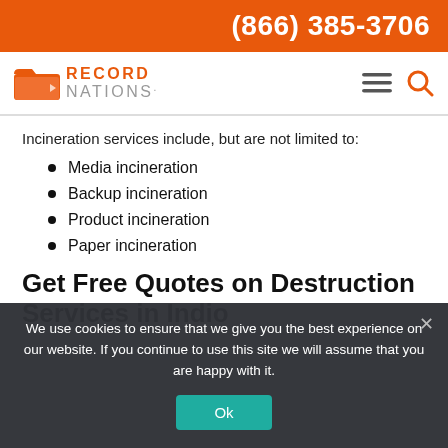(866) 385-3706
[Figure (logo): Record Nations logo with orange folder icon and text RECORD NATIONS]
Incineration services include, but are not limited to:
Media incineration
Backup incineration
Product incineration
Paper incineration
Get Free Quotes on Destruction Services in Indio
We use cookies to ensure that we give you the best experience on our website. If you continue to use this site we will assume that you are happy with it.